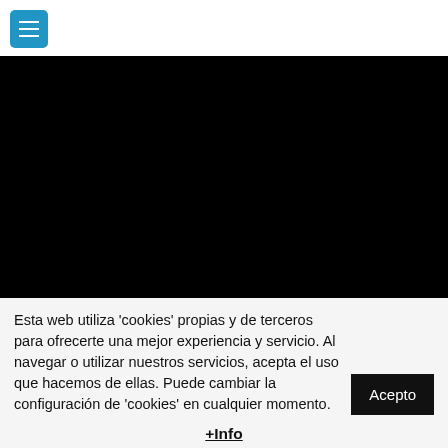[Figure (screenshot): Navigation bar with blue hamburger menu button (three horizontal lines) on white background]
[Figure (photo): Large black rectangular area representing a video or image placeholder]
Esta web utiliza 'cookies' propias y de terceros para ofrecerte una mejor experiencia y servicio. Al navegar o utilizar nuestros servicios, acepta el uso que hacemos de ellas. Puede cambiar la configuración de 'cookies' en cualquier momento.
Acepto
+Info